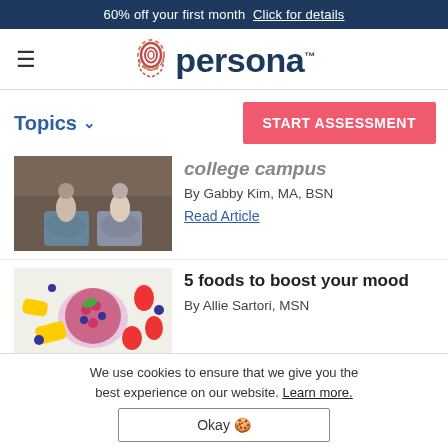60% off your first month  Click for details
[Figure (logo): Persona logo with fingerprint icon and wordmark]
Topics ∨
START ASSESSMENT
[Figure (photo): Aerial view of two people sitting on a wooden floor, seen from above, wearing jeans and sneakers — college campus article thumbnail]
college campus
By Gabby Kim, MA, BSN
Read Article
[Figure (photo): Overhead photo of a colorful smoothie bowl with berries, mango, and fruits surrounding it — 5 foods to boost your mood article thumbnail]
5 foods to boost your mood
By Allie Sartori, MSN
We use cookies to ensure that we give you the best experience on our website. Learn more.
Okay 🍪